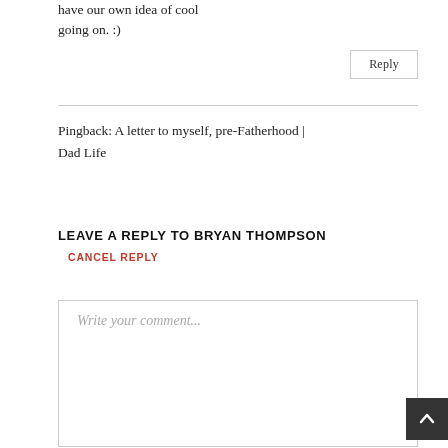have our own idea of cool going on. :)
Reply
Pingback: A letter to myself, pre-Fatherhood | Dad Life
LEAVE A REPLY TO BRYAN THOMPSON
CANCEL REPLY
Write your comment...